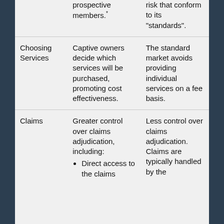|  | prospective members.* | risk that conform to its "standards". |
| Choosing Services | Captive owners decide which services will be purchased, promoting cost effectiveness. | The standard market avoids providing individual services on a fee basis. |
| Claims | Greater control over claims adjudication, including:
• Direct access to the claims... | Less control over claims adjudication. Claims are typically handled by the... |